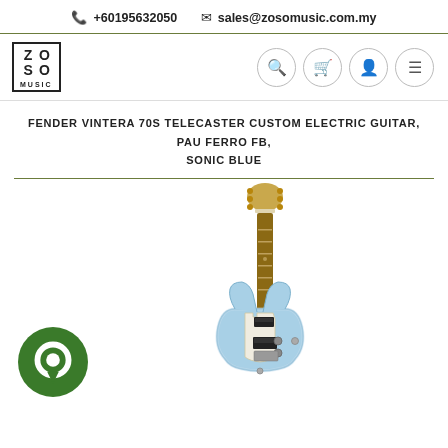+60195632050  sales@zosomusic.com.my
[Figure (logo): ZOSO MUSIC logo in a black bordered box with grid letters Z, O, S, O and MUSIC text below]
FENDER VINTERA 70S TELECASTER CUSTOM ELECTRIC GUITAR, PAU FERRO FB, SONIC BLUE
[Figure (photo): Fender Telecaster Custom electric guitar in Sonic Blue color, shown vertically with a light blue body and rosewood/pau ferro neck with gold headstock. A green circular chat icon is visible in the lower left.]